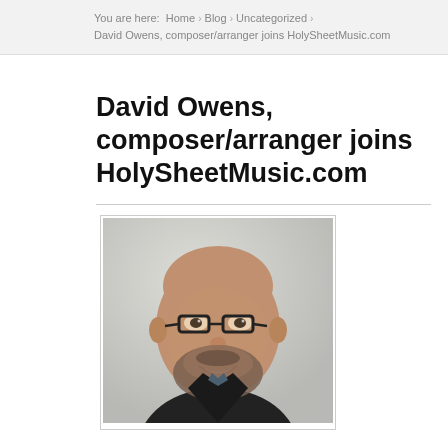You are here: Home > Blog > Uncategorized > David Owens, composer/arranger joins HolySheetMusic.com
David Owens, composer/arranger joins HolySheetMusic.com
[Figure (photo): Headshot of David Owens, a bald man with a beard and glasses, smiling, wearing a dark shirt, against a light background.]